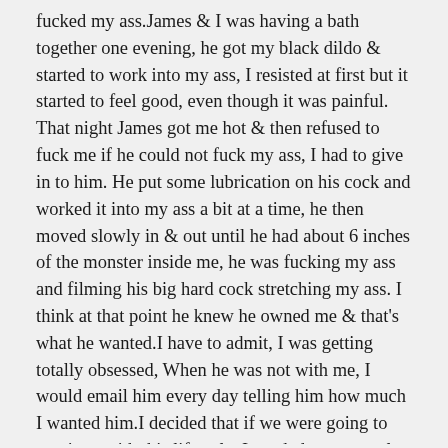fucked my ass.James & I was having a bath together one evening, he got my black dildo & started to work into my ass, I resisted at first but it started to feel good, even though it was painful. That night James got me hot & then refused to fuck me if he could not fuck my ass, I had to give in to him. He put some lubrication on his cock and worked it into my ass a bit at a time, he then moved slowly in & out until he had about 6 inches of the monster inside me, he was fucking my ass and filming his big hard cock stretching my ass. I think at that point he knew he owned me & that's what he wanted.I have to admit, I was getting totally obsessed, When he was not with me, I would email him every day telling him how much I wanted him.I decided that if we were going to continue with this lifestyle, I needed some regular birth control and thought I would try the pill again, my periods had been all over the place, never on time. I did not mention it to Simon, but I had missed my period last month, I was not worried at first but after being 3 weeks over I was concerned.I made an appointment at the local clinic. After being examined, I